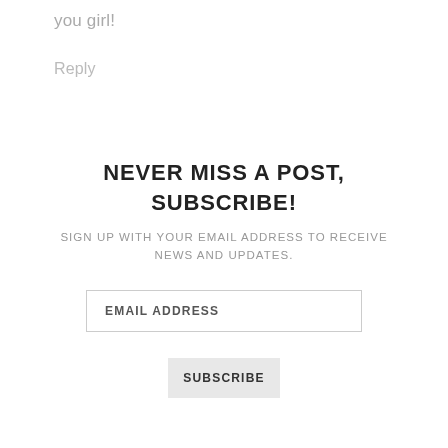you girl!
Reply
NEVER MISS A POST, SUBSCRIBE!
SIGN UP WITH YOUR EMAIL ADDRESS TO RECEIVE NEWS AND UPDATES.
EMAIL ADDRESS
SUBSCRIBE